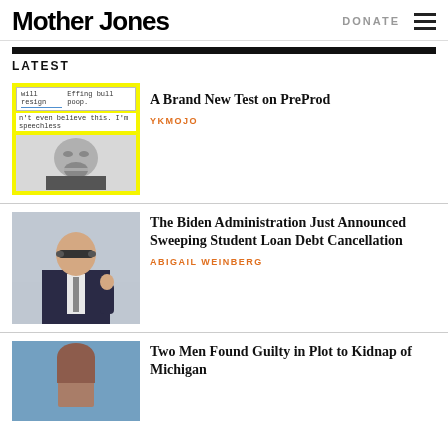Mother Jones
LATEST
[Figure (screenshot): Screenshot with yellow background showing social media post with text 'will resign' and 'Effing bull poop.' and 'n't even believe this. I'm speechless', overlaid on a black-and-white photo of a face with open mouth on yellow background]
A Brand New Test on PreProd
YKMOJO
[Figure (photo): Photo of Joe Biden wearing sunglasses and a dark suit, giving a thumbs up gesture outdoors]
The Biden Administration Just Announced Sweeping Student Loan Debt Cancellation
ABIGAIL WEINBERG
[Figure (photo): Photo of a woman with auburn hair against a blue background]
Two Men Found Guilty in Plot to Kidnap of Michigan